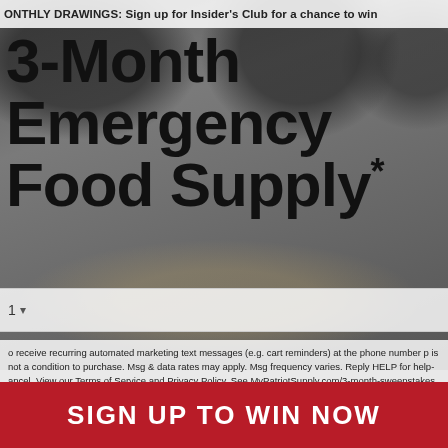MONTHLY DRAWINGS: Sign up for Insider's Club for a chance to win
3-Month Emergency Food Supply*
[Figure (photo): Background photo of Ready Hour emergency food supply buckets and prepared food dishes]
1
o receive recurring automated marketing text messages (e.g. cart reminders) at the phone number p... is not a condition to purchase. Msg & data rates may apply. Msg frequency varies. Reply HELP for help... ancel. View our Terms of Service and Privacy Policy. See MyPatriotSupply.com/3-month-sweepstakes fo...
SIGN UP TO WIN NOW